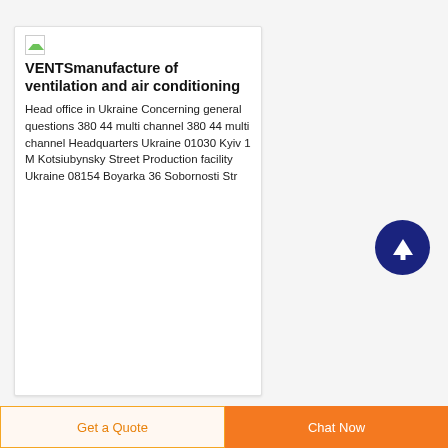[Figure (logo): Small logo placeholder icon (broken image icon)]
VENTSmanufacture of ventilation and air conditioning
Head office in Ukraine Concerning general questions 380 44 multi channel 380 44 multi channel Headquarters Ukraine 01030 Kyiv 1 M Kotsiubynsky Street Production facility Ukraine 08154 Boyarka 36 Sobornosti Str
[Figure (logo): Small logo placeholder icon (broken image icon) next to Baxter company name]
Baxter